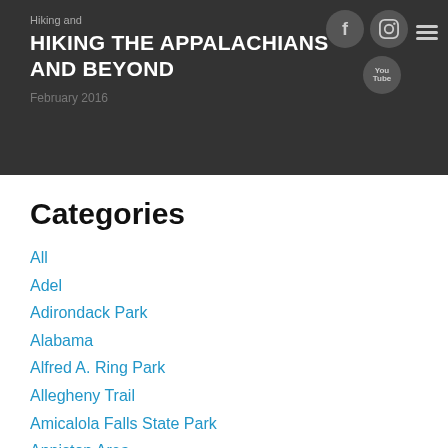HIKING THE APPALACHIANS AND BEYOND
Categories
All
Adel
Adirondack Park
Alabama
Alfred A. Ring Park
Allegheny Trail
Amicalola Falls State Park
Anniston Area
Apalachicola Bluffs And Ravines Preserve
Apalachicola National Forest
Apalachicola/Port St. Joe Area
Apopka